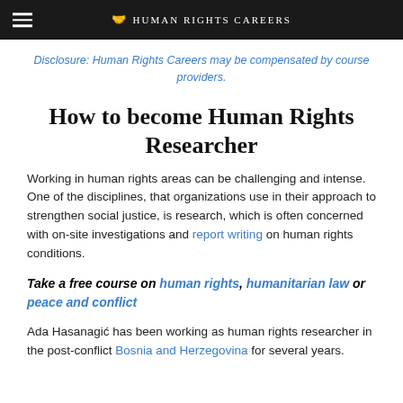Human Rights Careers
Disclosure: Human Rights Careers may be compensated by course providers.
How to become Human Rights Researcher
Working in human rights areas can be challenging and intense. One of the disciplines, that organizations use in their approach to strengthen social justice, is research, which is often concerned with on-site investigations and report writing on human rights conditions.
Take a free course on human rights, humanitarian law or peace and conflict
Ada Hasanagić has been working as human rights researcher in the post-conflict Bosnia and Herzegovina for several years.